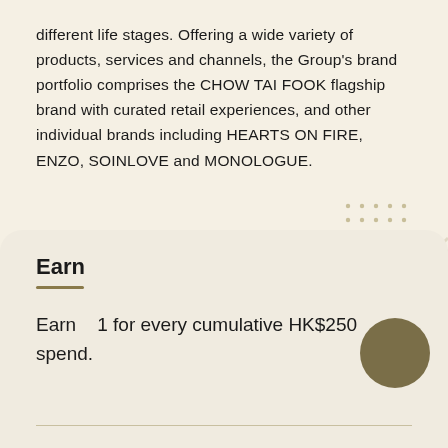different life stages. Offering a wide variety of products, services and channels, the Group's brand portfolio comprises the CHOW TAI FOOK flagship brand with curated retail experiences, and other individual brands including HEARTS ON FIRE, ENZO, SOINLOVE and MONOLOGUE.
Earn
Earn 1 for every cumulative HK$250 spend.